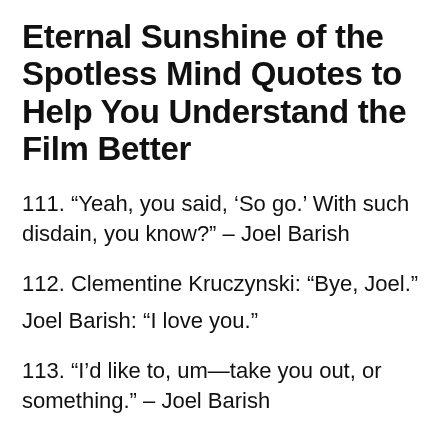Eternal Sunshine of the Spotless Mind Quotes to Help You Understand the Film Better
111. “Yeah, you said, ‘So go.’ With such disdain, you know?” – Joel Barish
112. Clementine Kruczynski: “Bye, Joel.”
Joel Barish: “I love you.”
113. “I’d like to, um—take you out, or something.” – Joel Barish